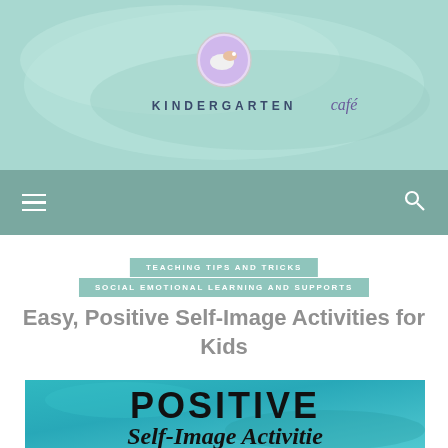[Figure (logo): Kindergarten Café logo with circular bird icon and watercolor teal background, site name KINDERGARTEN café]
Navigation bar with hamburger menu and search icon
TEACHING TIPS AND TRICKS
SOCIAL EMOTIONAL LEARNING AND SUPPORTS
Easy, Positive Self-Image Activities for Kids
[Figure (photo): Watercolor teal background with text POSITIVE Self-Image Activities]